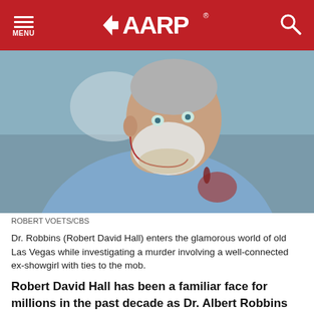MENU | AARP | Search
[Figure (photo): Older man with white beard and short gray hair wearing a light blue shirt with blood stains, looking upward to the left. Scene appears to be from a TV drama.]
ROBERT VOETS/CBS
Dr. Robbins (Robert David Hall) enters the glamorous world of old Las Vegas while investigating a murder involving a well-connected ex-showgirl with ties to the mob.
Robert David Hall has been a familiar face for millions in the past decade as Dr. Albert Robbins on the CBS drama,